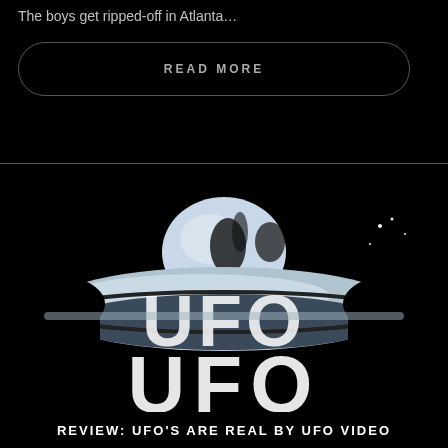The boys get ripped-off in Atlanta…
READ MORE
[Figure (illustration): Black and white stylized UFO flying saucer image with 'UFO' text overlaid, dark dramatic background]
REVIEW: UFO'S ARE REAL BY UFO VIDEO